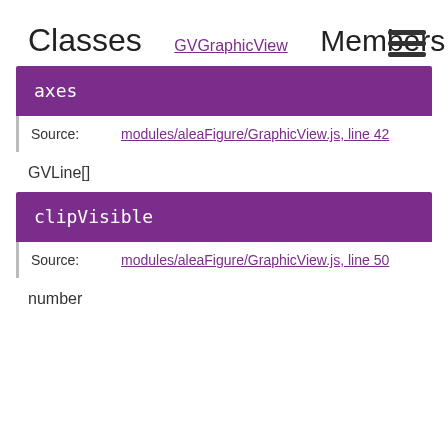Classes
GVGraphicView
Members
axes
Source: modules/aleaFigure/GraphicView.js, line 42
GVLine[]
clipVisible
Source: modules/aleaFigure/GraphicView.js, line 50
number